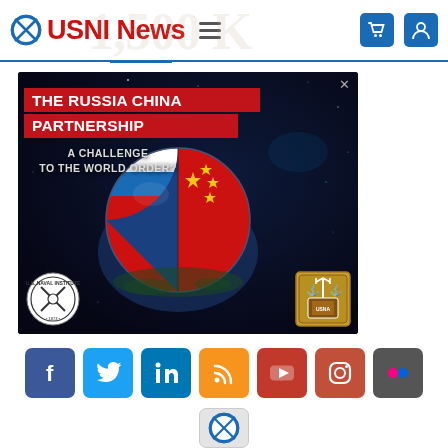USNI News
[Figure (illustration): Advertisement for 'The Russia China Partnership: A Challenge to the World Order?' featuring Russian and Chinese flags merged on a globe, with U.S. Naval Institute and Naval Academy logos]
[Figure (illustration): Row of social media icon buttons: Facebook, Twitter, LinkedIn, RSS, YouTube, Instagram, Flickr, and USNI icon below]